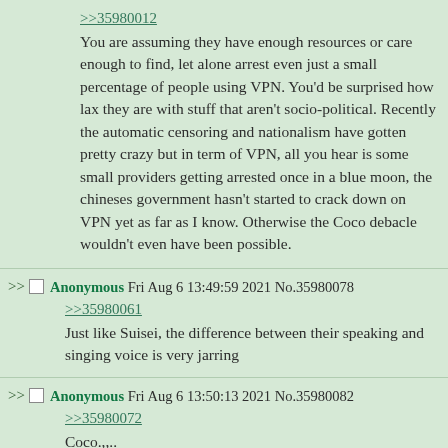>>35980012
You are assuming they have enough resources or care enough to find, let alone arrest even just a small percentage of people using VPN. You'd be surprised how lax they are with stuff that aren't socio-political. Recently the automatic censoring and nationalism have gotten pretty crazy but in term of VPN, all you hear is some small providers getting arrested once in a blue moon, the chineses government hasn't started to crack down on VPN yet as far as I know. Otherwise the Coco debacle wouldn't even have been possible.
Anonymous Fri Aug 6 13:49:59 2021 No.35980078
>>35980061
Just like Suisei, the difference between their speaking and singing voice is very jarring
Anonymous Fri Aug 6 13:50:13 2021 No.35980082
>>35980072
Coco.,..